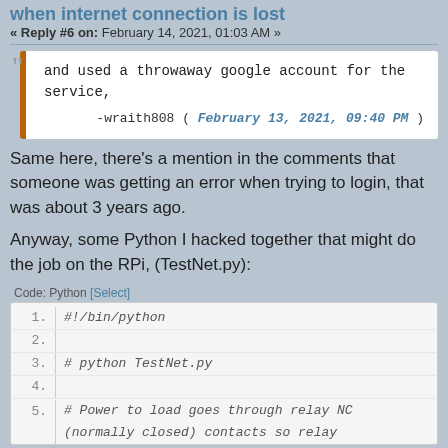when internet connection is lost
« Reply #6 on: February 14, 2021, 01:03 AM »
and used a throwaway google account for the service,
-wraith808 ( February 13, 2021, 09:40 PM )
Same here, there's a mention in the comments that someone was getting an error when trying to login, that was about 3 years ago.
Anyway, some Python I hacked together that might do the job on the RPi, (TestNet.py):
Code: Python [Select]
1. #!/bin/python
2.
3. # python TestNet.py
4.
5. # Power to load goes through relay NC
   (normally closed) contacts so relay